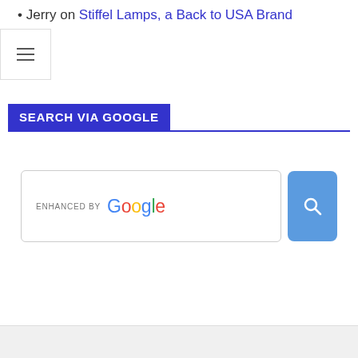Jerry on Stiffel Lamps, a Back to USA Brand
SEARCH VIA GOOGLE
[Figure (screenshot): Google search widget with 'ENHANCED BY Google' text and a blue search button with magnifying glass icon]